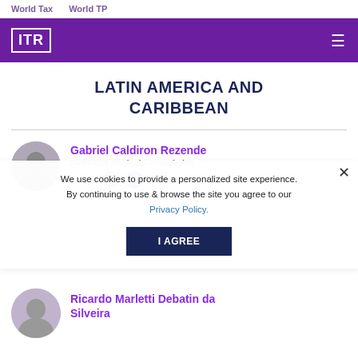World Tax   World TP
[Figure (logo): ITR logo in white on purple background with hamburger menu icon]
LATIN AMERICA AND CARIBBEAN
Gabriel Caldiron Rezende
PARTNER Machado Associados
Contact
We use cookies to provide a personalized site experience. By continuing to use & browse the site you agree to our Privacy Policy.
I AGREE
Ricardo Marletti Debatin da Silveira